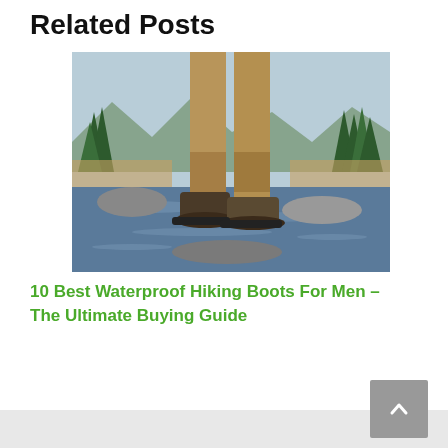Related Posts
[Figure (photo): Person standing on rocks in a stream wearing hiking boots and khaki pants, with trees and mountains in the background]
10 Best Waterproof Hiking Boots For Men – The Ultimate Buying Guide